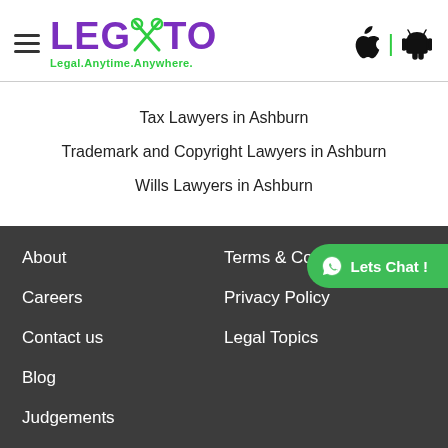[Figure (logo): Legato logo with scissors icon in the X, purple and green colors, tagline: Legal.Anytime.Anywhere.]
Tax Lawyers in Ashburn
Trademark and Copyright Lawyers in Ashburn
Wills Lawyers in Ashburn
About
Careers
Contact us
Blog
Judgements
Snippet
Terms & Conditi…
Privacy Policy
Legal Topics